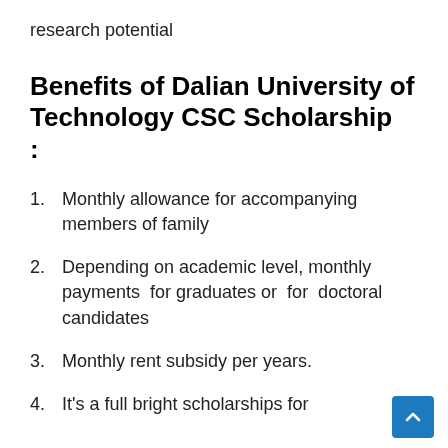research potential
Benefits of Dalian University of Technology CSC Scholarship:
Monthly allowance for accompanying members of family
Depending on academic level, monthly payments for graduates or for doctoral candidates
Monthly rent subsidy per years.
It's a full bright scholarships for